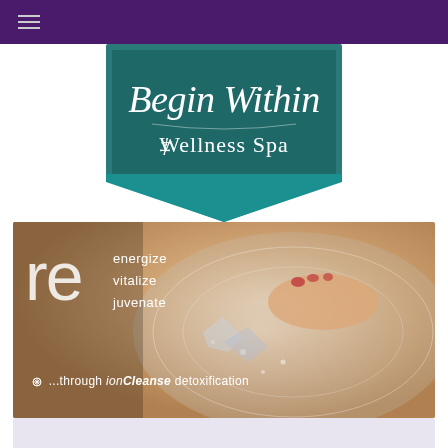Navigation bar with hamburger menu
[Figure (logo): Begin Within Wellness Spa logo — teal/dark-teal pentagon-shield shape with italic script text 'Begin Within' and subtitle 'Wellness Spa' in white on dark teal background with teal downward-pointing chevron at bottom]
[Figure (photo): Promotional banner image showing feet in a foot spa/bath with water and bubbles. Large white 're' letters on left, followed by words 'energize', 'vitalize', 'juvenate' and below '...through ionCleanse detoxification' with a snowflake/asterisk icon]
re energize vitalize juvenate ...through ionCleanse detoxification